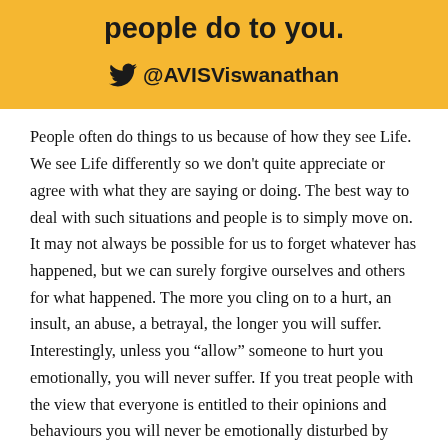people do to you.
@AVISViswanathan
People often do things to us because of how they see Life. We see Life differently so we don't quite appreciate or agree with what they are saying or doing. The best way to deal with such situations and people is to simply move on. It may not always be possible for us to forget whatever has happened, but we can surely forgive ourselves and others for what happened. The more you cling on to a hurt, an insult, an abuse, a betrayal, the longer you will suffer. Interestingly, unless you “allow” someone to hurt you emotionally, you will never suffer. If you treat people with the view that everyone is entitled to their opinions and behaviours you will never be emotionally disturbed by